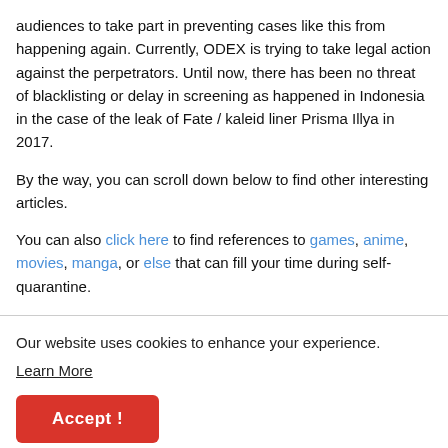audiences to take part in preventing cases like this from happening again. Currently, ODEX is trying to take legal action against the perpetrators. Until now, there has been no threat of blacklisting or delay in screening as happened in Indonesia in the case of the leak of Fate / kaleid liner Prisma Illya in 2017.
By the way, you can scroll down below to find other interesting articles.
You can also click here to find references to games, anime, movies, manga, or else that can fill your time during self-quarantine.
Our website uses cookies to enhance your experience. Learn More
Accept !